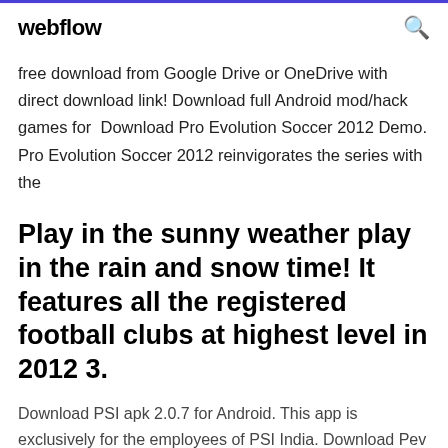webflow
free download from Google Drive or OneDrive with direct download link! Download full Android mod/hack games for  Download Pro Evolution Soccer 2012 Demo. Pro Evolution Soccer 2012 reinvigorates the series with the
Play in the sunny weather play in the rain and snow time! It features all the registered football clubs at highest level in 2012 3.
Download PSI apk 2.0.7 for Android. This app is exclusively for the employees of PSI India. Download Pev u t apk 1.21.3 for Android. Get